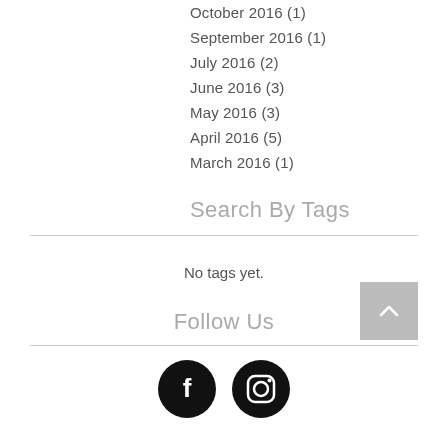October 2016 (1)
September 2016 (1)
July 2016 (2)
June 2016 (3)
May 2016 (3)
April 2016 (5)
March 2016 (1)
Search By Tags
No tags yet.
Follow Us
[Figure (illustration): Facebook and Instagram social media icons (black circles with white logos)]